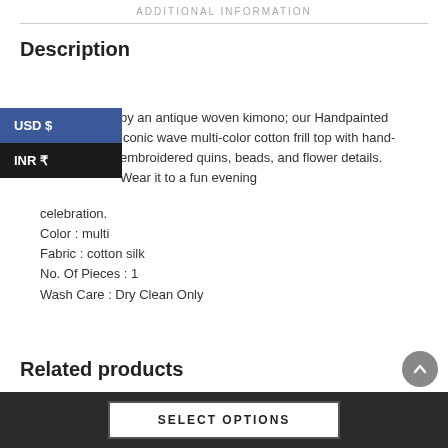ADDITIONAL INFORMATION
Description
...inspired by an antique woven kimono; our Handpainted iconic weave multi-color cotton frill top with hand-embroidered sequins, beads, and flower details. Wear it to a fun evening celebration.
Color : multi
Fabric : cotton silk
No. Of Pieces : 1
Wash Care : Dry Clean Only
Related products